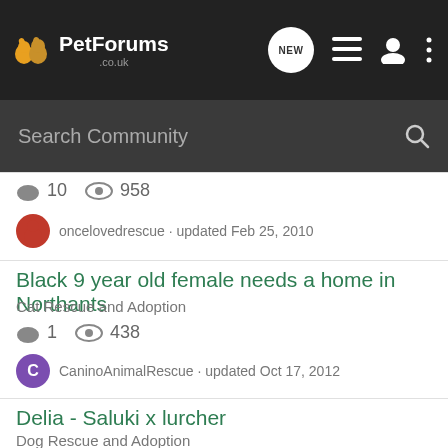PetForums.co.uk - Search Community navigation bar
10 replies, 958 views
oncelovedrescue · updated Feb 25, 2010
Black 9 year old female needs a home in Northants
Cat Rescue and Adoption
1 reply, 438 views
CaninoAnimalRescue · updated Oct 17, 2012
Delia - Saluki x lurcher
Dog Rescue and Adoption
1 reply, 489 views